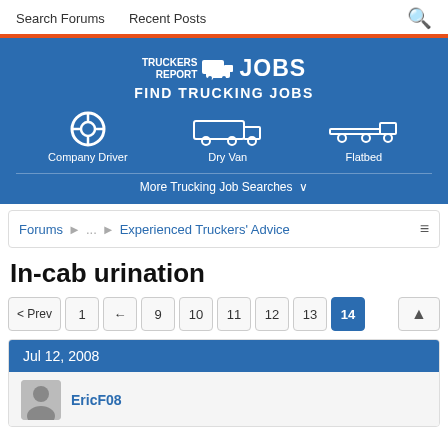Search Forums   Recent Posts
[Figure (screenshot): TruckersReport Jobs banner ad with logo, Find Trucking Jobs heading, and icons for Company Driver, Dry Van, Flatbed, plus More Trucking Job Searches link]
Forums ... Experienced Truckers' Advice
In-cab urination
< Prev  1  ←  9  10  11  12  13  14
Jul 12, 2008
EricF08